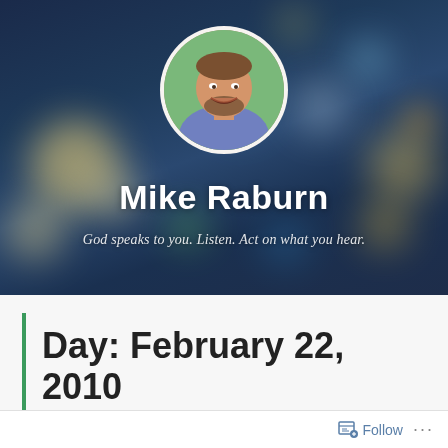[Figure (photo): Blog header banner with dark blurred city night background (bokeh lights), circular profile photo of a man (Mike Raburn) in the upper center, name and tagline overlaid in white text.]
Mike Raburn
God speaks to you. Listen. Act on what you hear.
Day: February 22, 2010
Follow ...